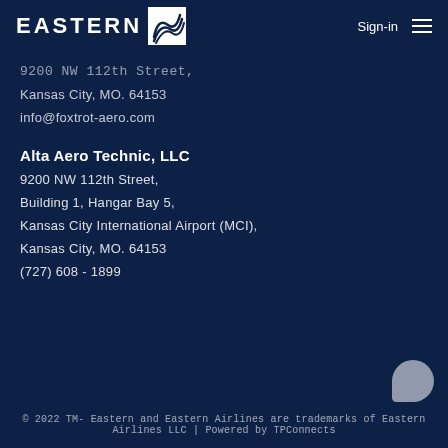EASTERN  Sign-in
9200 NW 112th Street,
Kansas City, MO. 64153
info@foxtrot-aero.com
Alta Aero Technic, LLC
9200 NW 112th Street,
Building 1, Hangar Bay 5,
Kansas City International Airport (MCI),
Kansas City, MO. 64153
(727) 608 - 1899
© 2022 TM- Eastern and Eastern Airlines are trademarks of Eastern Airlines LLC | Powered by TPConnects